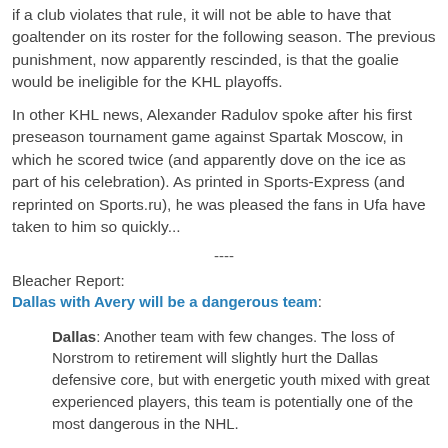If a club violates that rule, it will not be able to have that goaltender on its roster for the following season. The previous punishment, now apparently rescinded, is that the goalie would be ineligible for the KHL playoffs.
In other KHL news, Alexander Radulov spoke after his first preseason tournament game against Spartak Moscow, in which he scored twice (and apparently dove on the ice as part of his celebration). As printed in Sports-Express (and reprinted on Sports.ru), he was pleased the fans in Ufa have taken to him so quickly...
----
Bleacher Report:
Dallas with Avery will be a dangerous team:
Dallas: Another team with few changes. The loss of Norstrom to retirement will slightly hurt the Dallas defensive core, but with energetic youth mixed with great experienced players, this team is potentially one of the most dangerous in the NHL.
A full season of Brad Richards and Sean Avery,